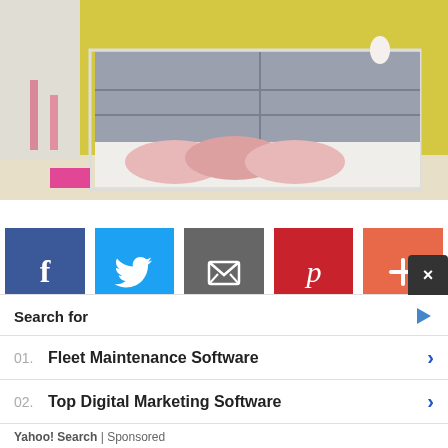[Figure (photo): Interior photo showing a gray dresser/sideboard with drawers on a white metal frame, pink pillows underneath, pink candle holders on left side, yellow painted wall in background]
[Figure (infographic): Social media sharing buttons: Facebook (blue), Twitter (blue), Email (gray), Pinterest (red), Plus/More (orange-red)]
× Search for
01. Fleet Maintenance Software
02. Top Digital Marketing Software
Yahoo! Search | Sponsored